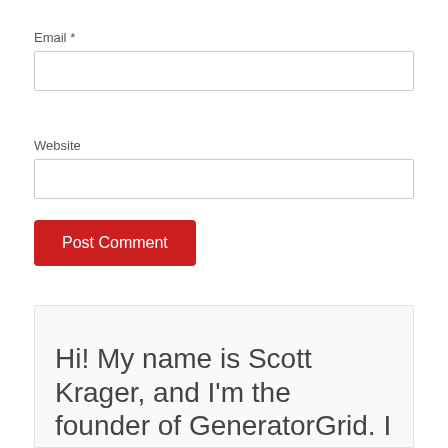Email *
Website
Post Comment
Hi! My name is Scott Krager, and I'm the founder of GeneratorGrid. I